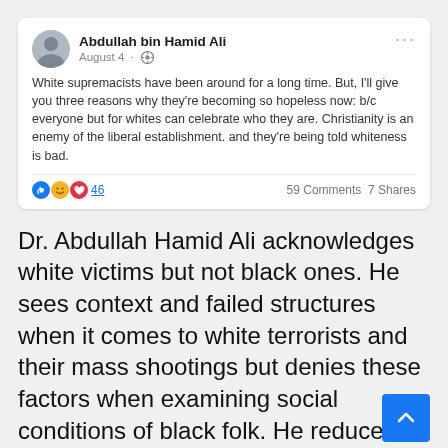[Figure (screenshot): Facebook post by Abdullah bin Hamid Ali dated August 4. Post text: 'White supremacists have been around for a long time. But, I'll give you three reasons why they're becoming so hopeless now: b/c everyone but for whites can celebrate who they are. Christianity is an enemy of the liberal establishment. and they're being told whiteness is bad.' Shows 46 reactions, 59 Comments, 7 Shares.]
Dr. Abdullah Hamid Ali acknowledges white victims but not black ones. He sees context and failed structures when it comes to white terrorists and their mass shootings but denies these factors when examining social conditions of black folk. He reduces African-American issues to poor choices despite the data and research. Criminologist Adam Lankford of the University of Alabama said that the three factors that mass shooters have in common are: 1) suicidal motives and indifference to life, 2) perceived victimization, and 3) desire for